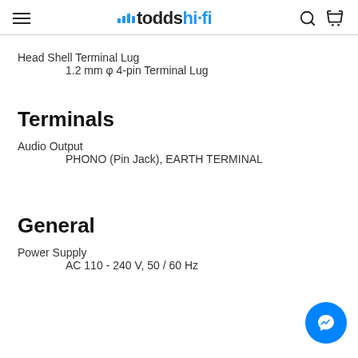todds hi-fi
Head Shell Terminal Lug
1.2 mm φ 4-pin Terminal Lug
Terminals
Audio Output
PHONO (Pin Jack), EARTH TERMINAL
General
Power Supply
AC 110 - 240 V, 50 / 60 Hz